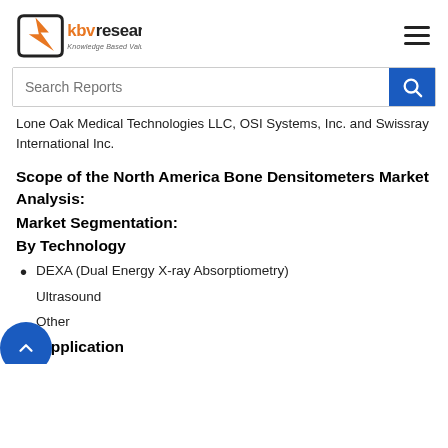[Figure (logo): KBV Research logo with orange/black bird icon and text 'kbv research Knowledge Based Value']
Lone Oak Medical Technologies LLC, OSI Systems, Inc. and Swissray International Inc.
Scope of the North America Bone Densitometers Market Analysis:
Market Segmentation:
By Technology
DEXA (Dual Energy X-ray Absorptiometry)
Ultrasound
Other
By Application